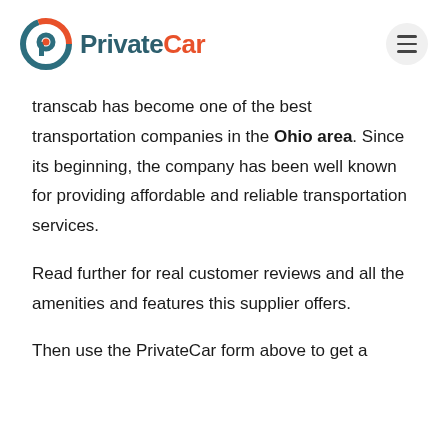PrivateCar
transcab has become one of the best transportation companies in the Ohio area. Since its beginning, the company has been well known for providing affordable and reliable transportation services.
Read further for real customer reviews and all the amenities and features this supplier offers.
Then use the PrivateCar form above to get a